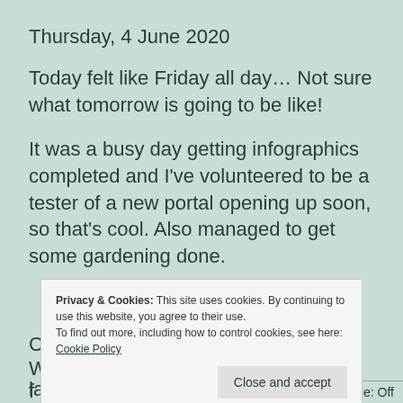Thursday, 4 June 2020
Today felt like Friday all day… Not sure what tomorrow is going to be like!
It was a busy day getting infographics completed and I've volunteered to be a tester of a new portal opening up soon, so that's cool. Also managed to get some gardening done.
(partial text obscured by cookie banner)
lawn looking for clean fill. He then
[Figure (screenshot): Cookie consent banner overlay with text: 'Privacy & Cookies: This site uses cookies. By continuing to use this website, you agree to their use. To find out more, including how to control cookies, see here: Cookie Policy' and a 'Close and accept' button.]
Dark Mode: Off